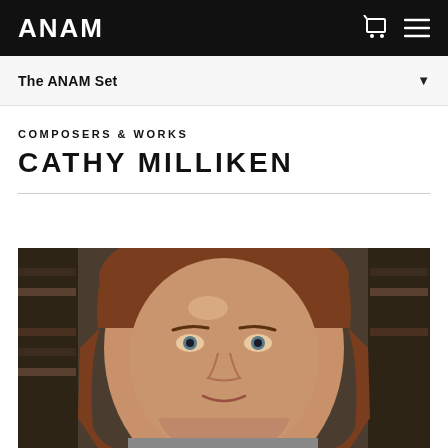ANAM
The ANAM Set
COMPOSERS & WORKS
CATHY MILLIKEN
[Figure (photo): Portrait photo of Cathy Milliken, a woman with brown hair, photographed from the shoulders up with bookshelves visible in the background.]